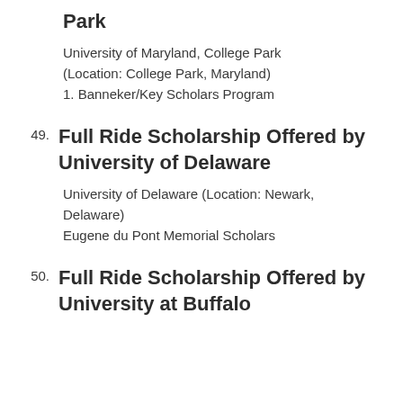Park
University of Maryland, College Park
(Location: College Park, Maryland)
1. Banneker/Key Scholars Program
49. Full Ride Scholarship Offered by University of Delaware
University of Delaware (Location: Newark, Delaware)
Eugene du Pont Memorial Scholars
50. Full Ride Scholarship Offered by University at Buffalo